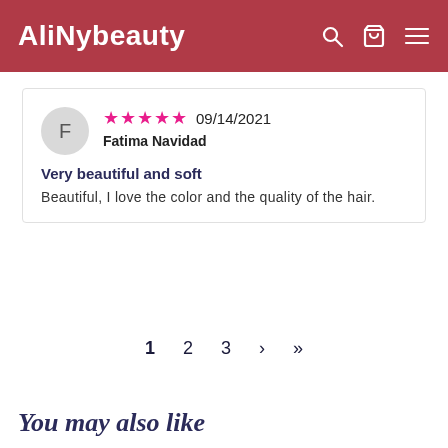AliNybeauty
★★★★★ 09/14/2021
Fatima Navidad
Very beautiful and soft
Beautiful, I love the color and the quality of the hair.
1  2  3  ›  »
You may also like